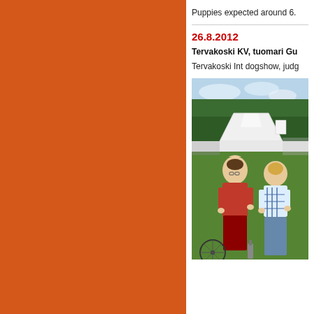Puppies expected around 6.
26.8.2012
Tervakoski KV, tuomari Gu
Tervakoski Int dogshow, judg
[Figure (photo): Outdoor dog show photo showing two women standing on green grass in front of a white tent, with pine trees in the background. The woman on the left wears a red top, the woman on the right wears a white and blue plaid shirt.]